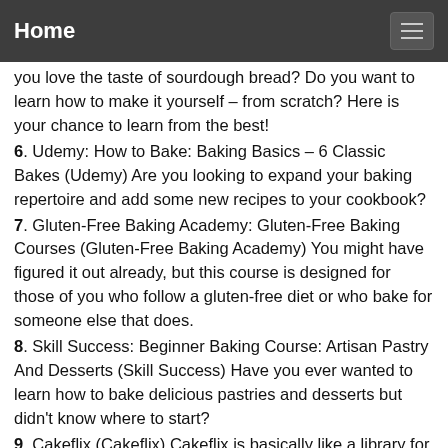Home
you love the taste of sourdough bread? Do you want to learn how to make it yourself – from scratch? Here is your chance to learn from the best!
6. Udemy: How to Bake: Baking Basics – 6 Classic Bakes (Udemy) Are you looking to expand your baking repertoire and add some new recipes to your cookbook?
7. Gluten-Free Baking Academy: Gluten-Free Baking Courses (Gluten-Free Baking Academy) You might have figured it out already, but this course is designed for those of you who follow a gluten-free diet or who bake for someone else that does.
8. Skill Success: Beginner Baking Course: Artisan Pastry And Desserts (Skill Success) Have you ever wanted to learn how to bake delicious pastries and desserts but didn't know where to start?
9. Cakeflix (Cakeflix) Cakeflix is basically like a library for cake ideas. With a subscription, you can get access to